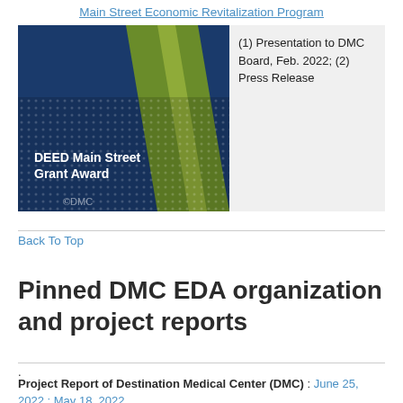Main Street Economic Revitalization Program
[Figure (photo): DEED Main Street Grant Award banner image showing blue and green geometric design with white text. Adjacent caption text reads: (1) Presentation to DMC Board, Feb. 2022; (2) Press Release]
Back To Top
Pinned DMC EDA organization and project reports
.
Project Report of Destination Medical Center (DMC) : June 25, 2022 : May 18, 2022